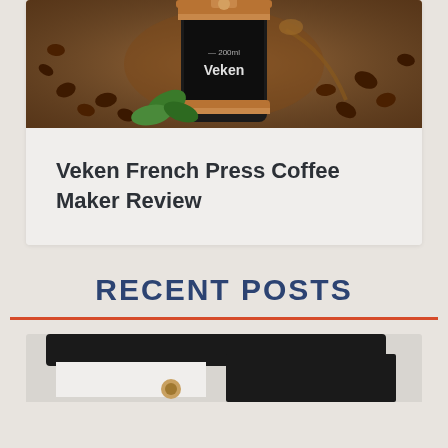[Figure (photo): French press coffee maker by Veken brand surrounded by coffee beans and green mint leaves on a brown background]
Veken French Press Coffee Maker Review
RECENT POSTS
[Figure (photo): Partial view of a coffee machine or appliance, black and white colors, bottom of page]